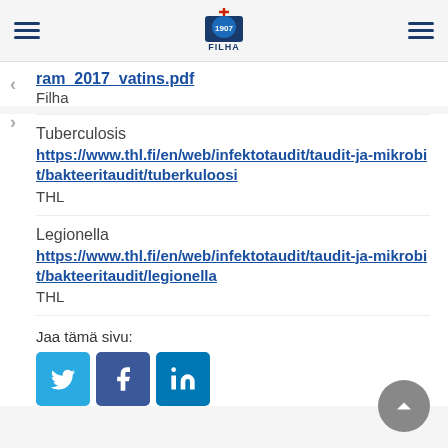FILHA
ram_2017_vatins.pdf
Filha
Tuberculosis
https://www.thl.fi/en/web/infektotaudit/taudit-ja-mikrobit/bakteeritaudit/tuberkuloosi
THL
Legionella
https://www.thl.fi/en/web/infektotaudit/taudit-ja-mikrobit/bakteeritaudit/legionella
THL
Jaa tämä sivu: